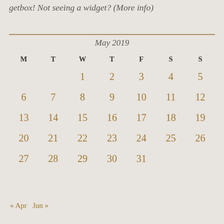getbox! Not seeing a widget? (More info)
| M | T | W | T | F | S | S |
| --- | --- | --- | --- | --- | --- | --- |
|  |  | 1 | 2 | 3 | 4 | 5 |
| 6 | 7 | 8 | 9 | 10 | 11 | 12 |
| 13 | 14 | 15 | 16 | 17 | 18 | 19 |
| 20 | 21 | 22 | 23 | 24 | 25 | 26 |
| 27 | 28 | 29 | 30 | 31 |  |  |
« Apr   Jun »